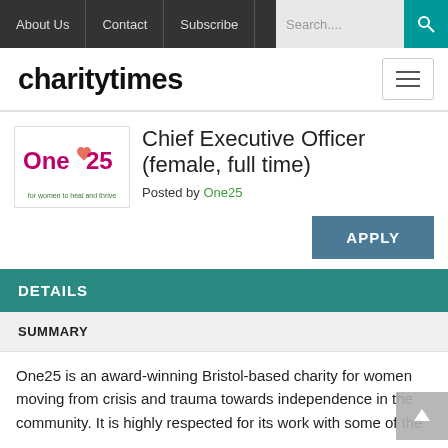About Us | Contact | Subscribe | Search...
[Figure (logo): charitytimes logo and hamburger menu]
[Figure (logo): One25 charity logo — for women to heal and thrive]
Chief Executive Officer (female, full time)
Posted by One25
APPLY
DETAILS
SUMMARY
One25 is an award-winning Bristol-based charity for women moving from crisis and trauma towards independence in the community. It is highly respected for its work with some of the